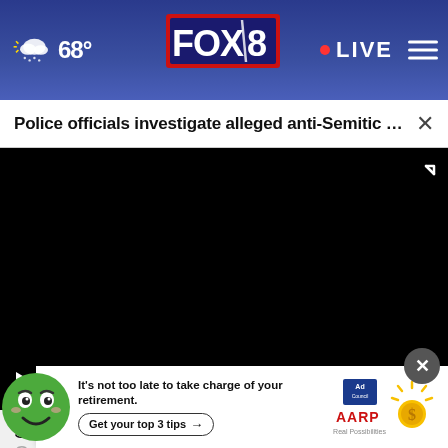[Figure (screenshot): FOX 8 news website navigation bar with weather icon showing cloudy/snow at 68°F, FOX 8 logo in center, red dot LIVE indicator and hamburger menu on right, dark blue gradient background]
Police officials investigate alleged anti-Semitic po...  ×
[Figure (screenshot): Black video player with play button, mute button, and fullscreen icon controls at bottom]
Semitic hate speech and profanity.
Canar... 's accounts last week.
[Figure (infographic): AARP advertisement with green emoji mascot face, text 'It's not too late to take charge of your retirement. Get your top 3 tips →' with Ad Council and AARP logos and sun/coin graphic]